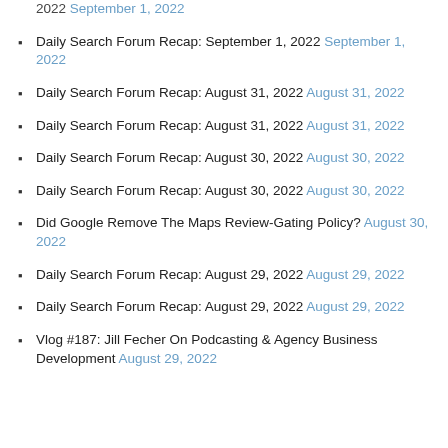2022 September 1, 2022
Daily Search Forum Recap: September 1, 2022 September 1, 2022
Daily Search Forum Recap: August 31, 2022 August 31, 2022
Daily Search Forum Recap: August 31, 2022 August 31, 2022
Daily Search Forum Recap: August 30, 2022 August 30, 2022
Daily Search Forum Recap: August 30, 2022 August 30, 2022
Did Google Remove The Maps Review-Gating Policy? August 30, 2022
Daily Search Forum Recap: August 29, 2022 August 29, 2022
Daily Search Forum Recap: August 29, 2022 August 29, 2022
Vlog #187: Jill Fecher On Podcasting & Agency Business Development August 29, 2022